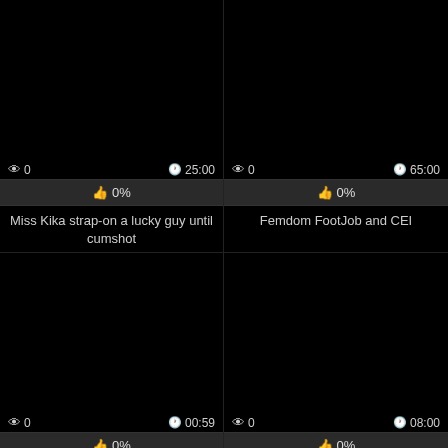[Figure (screenshot): Black video thumbnail, top-left card]
👁 0   🕐25:00
👍 0%
Miss Kika strap-on a lucky guy until cumshot
[Figure (screenshot): Black video thumbnail, top-right card]
👁 0   🕐65:00
👍 0%
Femdom FootJob and CEI
[Figure (screenshot): Black video thumbnail, bottom-left card]
👁 0   🕐00:59
👍 0%
Fucking Machine Prostate Milking 4 Orgasms Hands-free Restrained
[Figure (screenshot): Black video thumbnail, bottom-right card]
👁 0   🕐08:00
👍 0%
ThemCrazyLovers